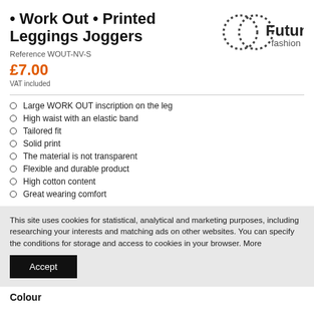• Work Out • Printed Leggings Joggers
[Figure (logo): Futuro Fashion logo — two overlapping dotted circle rings with 'Futuro fashion' text]
Reference WOUT-NV-S
£7.00
VAT included
Large WORK OUT inscription on the leg
High waist with an elastic band
Tailored fit
Solid print
The material is not transparent
Flexible and durable product
High cotton content
Great wearing comfort
This site uses cookies for statistical, analytical and marketing purposes, including researching your interests and matching ads on other websites. You can specify the conditions for storage and access to cookies in your browser. More
Accept
Colour